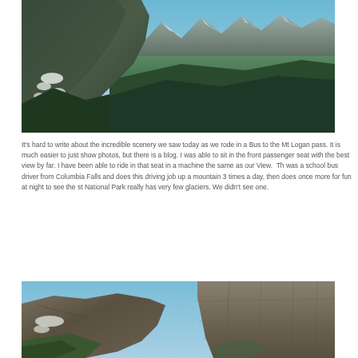[Figure (photo): Aerial panoramic view of mountain valleys with green forest slopes, snow patches on rocky mountain faces, blue sky with distant snow-capped peaks in the background]
It's hard to write about the incredible scenery we saw today as we rode in a Bus to the Mt Logan pass. It is much easier to just show photos, but there is a blog. I was able to sit in the front passenger seat with the best view by far. I have been able to ride in that seat in a machine the same as our View.  The was a school bus driver from Columbia Falls and does this driving job up a mountain 3 times a day, then does once more for fun at night to see the st National Park really has very few glaciers. We didn't see one.
[Figure (photo): Rocky mountain cliff face with steep dark stone walls, snow patches in crevices, sparse green vegetation at bottom left, and blue sky at top]